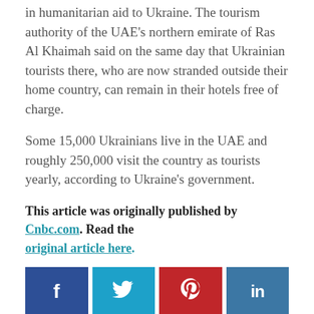in humanitarian aid to Ukraine. The tourism authority of the UAE's northern emirate of Ras Al Khaimah said on the same day that Ukrainian tourists there, who are now stranded outside their home country, can remain in their hotels free of charge.
Some 15,000 Ukrainians live in the UAE and roughly 250,000 visit the country as tourists yearly, according to Ukraine's government.
This article was originally published by Cnbc.com. Read the original article here.
[Figure (infographic): Social media share buttons: Facebook (blue), Twitter (light blue), Pinterest (red), LinkedIn (blue)]
Products You May Like
[Figure (photo): Four product cards: first shows 'No image available', second shows a building/tower illustration, third shows cylindrical products, fourth shows a person photo]